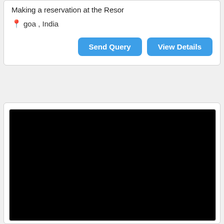Making a reservation at the Resor
goa , India
Send Query
View Details
[Figure (photo): Black video/image placeholder area within a card]